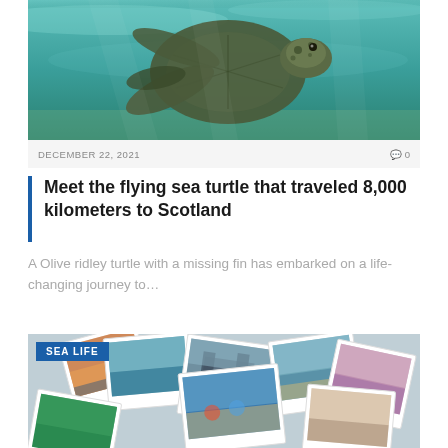[Figure (photo): Sea turtle swimming underwater in turquoise clear water, viewed from below and side, showing the turtle's spotted head and flippers]
DECEMBER 22, 2021    💬 0
Meet the flying sea turtle that traveled 8,000 kilometers to Scotland
A Olive ridley turtle with a missing fin has embarked on a life-changing journey to…
[Figure (photo): Collage of Polaroid-style travel photos scattered, showing coastal scenes, blue water, buildings, beach, tropical locations, with a blue SEA LIFE badge in top-left corner]